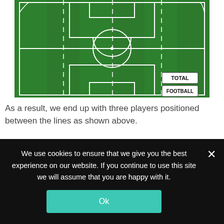[Figure (illustration): Top-down view of a football/soccer pitch showing white lines: penalty areas, center circle, halfway line, goal areas, and dashed vertical lines dividing the pitch into thirds. A 'Total Football Analysis' watermark is visible in the bottom-right of the pitch. The image is cropped showing only the top half of the pitch.]
As a result, we end up with three players positioned between the lines as shown above.
Which positions look to receive between the lines?
We use cookies to ensure that we give you the best experience on our website. If you continue to use this site we will assume that you are happy with it.